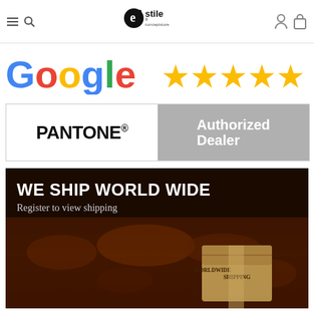[Figure (screenshot): Website header navigation bar for 'e-stile conceptstore' with hamburger menu, search icon, logo, user icon, and bag icon]
[Figure (logo): Google logo in multicolor letters followed by five gold/yellow star ratings]
[Figure (logo): PANTONE Authorized Dealer badge with white left panel and gray right panel]
[Figure (infographic): Dark shipping banner reading 'WE SHIP WORLD WIDE' with subtext 'Register to view shipping costs to your country', featuring a world map and shipping box imagery]